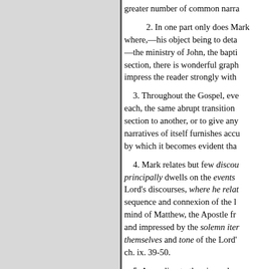greater number of common narra
2. In one part only does Mark where,—his object being to deta —the ministry of John, the bapti section, there is wonderful graph impress the reader strongly with
3. Throughout the Gospel, eve each, the same abrupt transition section to another, or to give any narratives of itself furnishes accu by which it becomes evident tha
4. Mark relates but few discou principally dwells on the events Lord's discourses, where he relat sequence and connexion of the l mind of Matthew, the Apostle fr and impressed by the solemn iter themselves and tone of the Lord's ch. ix. 39-50.
5. According to the view adop abruptly with the words "for they defect,-is apparent, by the additi